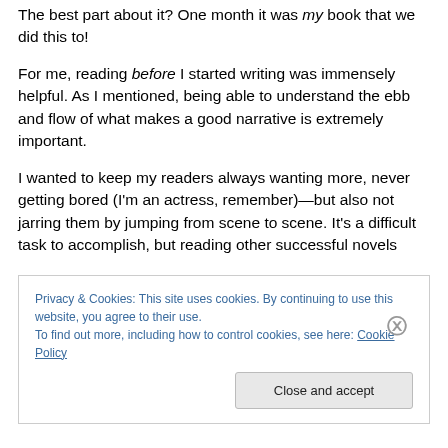The best part about it? One month it was my book that we did this to!
For me, reading before I started writing was immensely helpful. As I mentioned, being able to understand the ebb and flow of what makes a good narrative is extremely important.
I wanted to keep my readers always wanting more, never getting bored (I'm an actress, remember)—but also not jarring them by jumping from scene to scene. It's a difficult task to accomplish, but reading other successful novels
Privacy & Cookies: This site uses cookies. By continuing to use this website, you agree to their use.
To find out more, including how to control cookies, see here: Cookie Policy
Close and accept